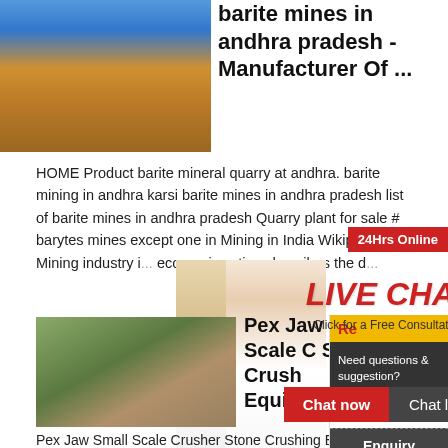[Figure (photo): Mining/quarry equipment with blue machinery and earthen ground]
barite mines in andhra pradesh - Manufacturer Of ...
HOME Product barite mineral quarry at andhra. barite mining in andhra karsi barite mines in andhra pradesh list of barite mines in andhra pradesh Quarry plant for sale # barytes mines except one in Mining in India Wikipedia The Mining industry i... economic activ... describes the d...
[Figure (photo): Live Chat popup overlay with construction workers and customer service representative]
[Figure (photo): Small scale stone crushing equipment facility aerial view]
Pex Jaw Small Scale C Stone Crush Equipment -
Pex Jaw Small Scale Crusher Stone Crushing Equ...